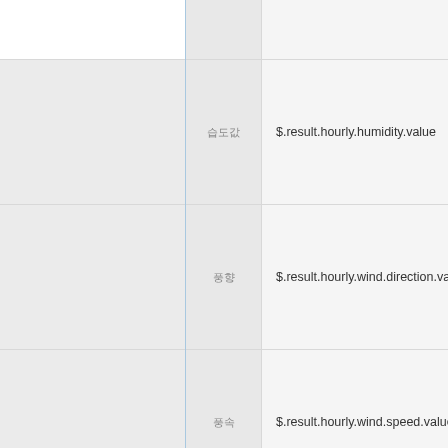|  | 필드명 | 경로 |
| --- | --- | --- |
|  |  |  |
|  | 습도값 | $.result.hourly.humidity.value |
|  | 풍향 | $.result.hourly.wind.direction.value |
|  | 풍속 | $.result.hourly.wind.speed.value |
|  | 강수량값 | $.result.hourly.precipitation.value |